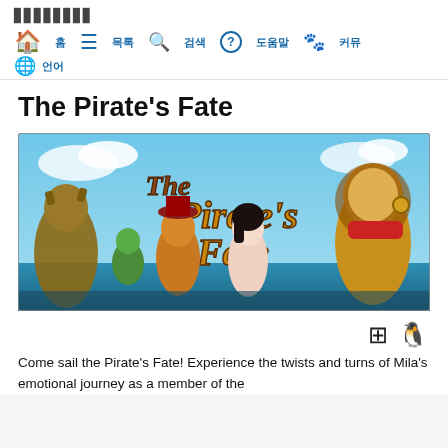▉▉▉▉▉▉▉▉
⌂ 홈  ≡ 목록  🔍 검색  ? 도움말  🐾 커뮤  🌐 언어
The Pirate's Fate
[Figure (illustration): Colorful cartoon game key art for 'The Pirate's Fate' showing animated anthropomorphic characters including a bull, lizard, wolf-dog, human girl, and lion-like character against a blue sky background with the game title in stylized script.]
Come sail the Pirate's Fate! Experience the twists and turns of Mila's emotional journey as a member of the
Windows and Mac platform icons